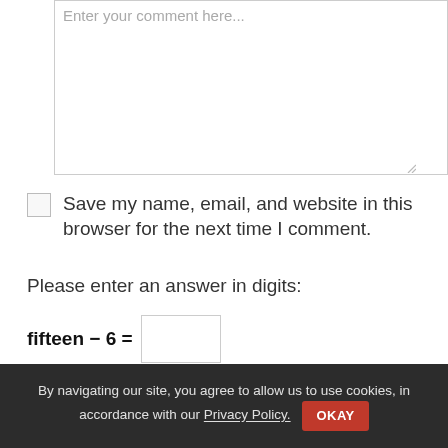[Figure (screenshot): Textarea input box with placeholder text 'Enter your comment here...' and a resize handle in the bottom-right corner]
Save my name, email, and website in this browser for the next time I comment.
Please enter an answer in digits:
fifteen − 6 =
[Figure (screenshot): Black submit button area, partially visible]
By navigating our site, you agree to allow us to use cookies, in accordance with our Privacy Policy. OKAY